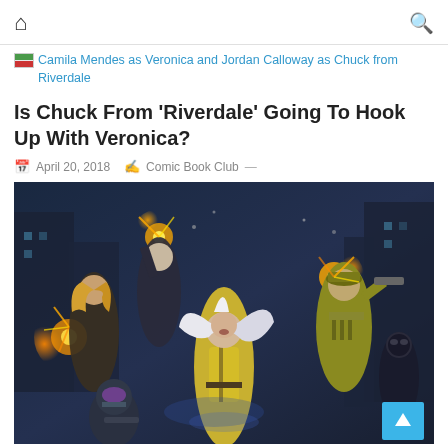🏠 (home icon)   🔍 (search icon)
Camila Mendes as Veronica and Jordan Calloway as Chuck from Riverdale
Is Chuck From 'Riverdale' Going To Hook Up With Veronica?
April 20, 2018   Comic Book Club —
[Figure (illustration): Comic book action scene featuring several super-powered characters fighting; center character is a woman with white/silver hair in a yellow outfit, surrounded by other characters shooting weapons with explosive muzzle flashes, on a dark urban background.]